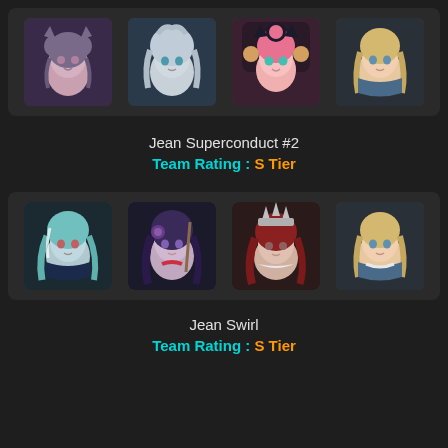[Figure (illustration): Four anime-style character icons in a row: purple-haired cat girl, silver-haired boy, pink-haired cat girl, blonde girl]
Jean Superconduct #2
Team Rating : S Tier
[Figure (illustration): Four anime-style character icons in a row: teal-haired girl, dark purple-haired girl, red-haired girl with crown, blonde girl]
Jean Swirl
Team Rating : S Tier